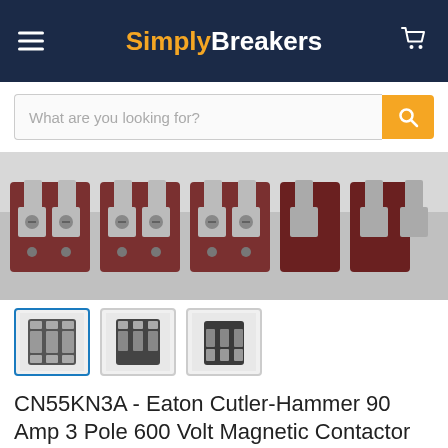SimplyBreakers
What are you looking for?
[Figure (photo): Close-up photo of magnetic contactor terminals and poles, showing grey plastic housing with screw terminals, viewed from above]
[Figure (photo): Three thumbnail images of the Eaton Cutler-Hammer magnetic contactor from different angles]
CN55KN3A - Eaton Cutler-Hammer 90 Amp 3 Pole 600 Volt Magnetic Contactor
by Eaton Cutler-Hammer